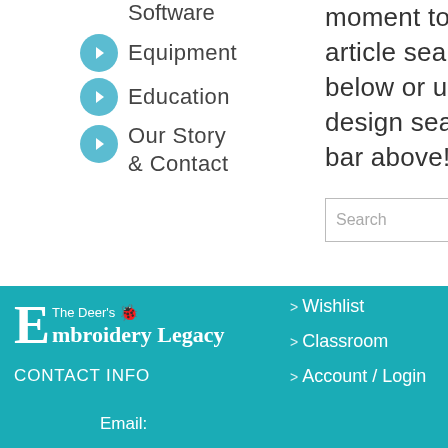Software
Equipment
Education
Our Story & Contact
moment to do an article search below or use the design search bar above!
[Figure (screenshot): Search input field with black search button icon on the right]
[Figure (logo): The Deer's Embroidery Legacy logo with large E and ladybug icon, white text on teal background]
CONTACT INFO
Email:
Wishlist
Classroom
Account / Login